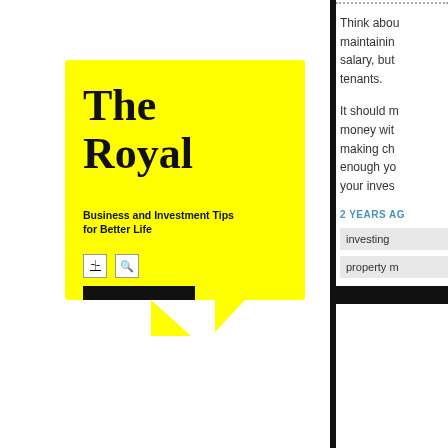[Figure (logo): Yellow speech bubble containing 'The Royal' title and 'Business and Investment Tips for Better Life' subtitle with RSS and search icons and a black bar]
The Royal
Business and Investment Tips for Better Life
Think about maintaining salary, but tenants.
It should make money with making choices enough your investment your inves...
2 YEARS AGO
investing
property m...